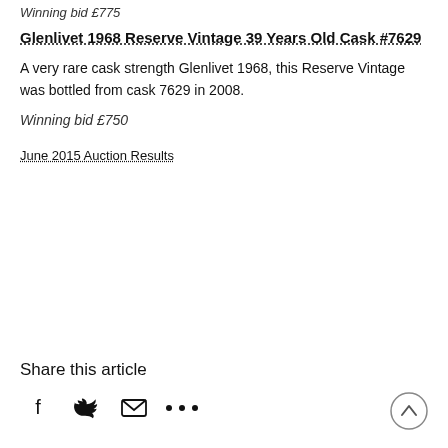Winning bid £775
Glenlivet 1968 Reserve Vintage 39 Years Old Cask #7629
A very rare cask strength Glenlivet 1968, this Reserve Vintage was bottled from cask 7629 in 2008.
Winning bid £750
June 2015 Auction Results
Share this article